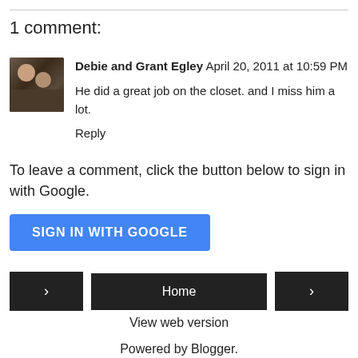1 comment:
Debie and Grant Egley April 20, 2011 at 10:59 PM
He did a great job on the closet. and I miss him a lot.
Reply
To leave a comment, click the button below to sign in with Google.
SIGN IN WITH GOOGLE
Home
View web version
Powered by Blogger.